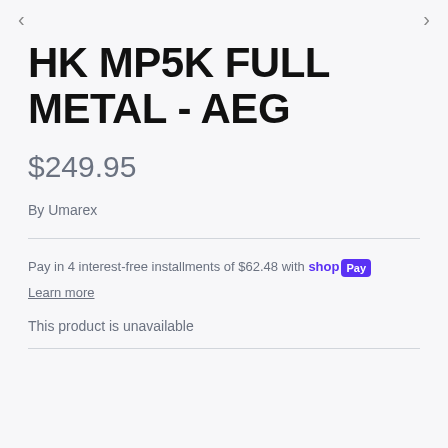HK MP5K FULL METAL - AEG
$249.95
By Umarex
Pay in 4 interest-free installments of $62.48 with shop Pay
Learn more
This product is unavailable